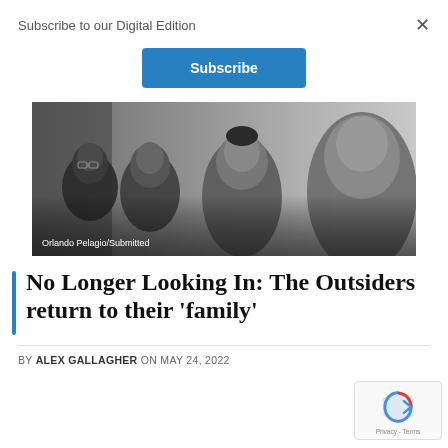Subscribe to our Digital Edition
×
Subscribe
[Figure (photo): Black and white photo of four young men facing camera, in a moody group portrait. Photo credit: Orlando Pelagio/Submitted]
Orlando Pelagio/Submitted
No Longer Looking In: The Outsiders return to their 'family'
BY ALEX GALLAGHER ON MAY 24, 2022